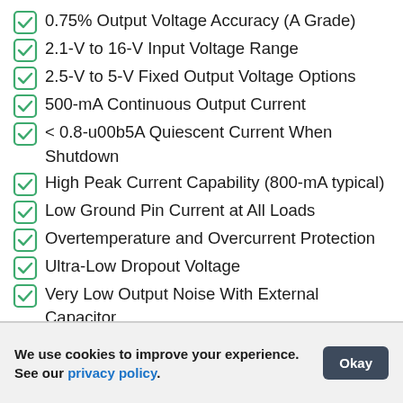0.75% Output Voltage Accuracy (A Grade)
2.1-V to 16-V Input Voltage Range
2.5-V to 5-V Fixed Output Voltage Options
500-mA Continuous Output Current
< 0.8-u00b5A Quiescent Current When Shutdown
High Peak Current Capability (800-mA typical)
Low Ground Pin Current at All Loads
Overtemperature and Overcurrent Protection
Ultra-Low Dropout Voltage
Very Low Output Noise With External Capacitor
u221240u00b0C to 125u00b0C Junction Temperature Range
We use cookies to improve your experience. See our privacy policy.